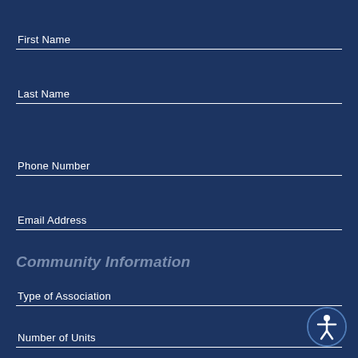First Name
Last Name
Phone Number
Email Address
Community Information
Type of Association
Number of Units